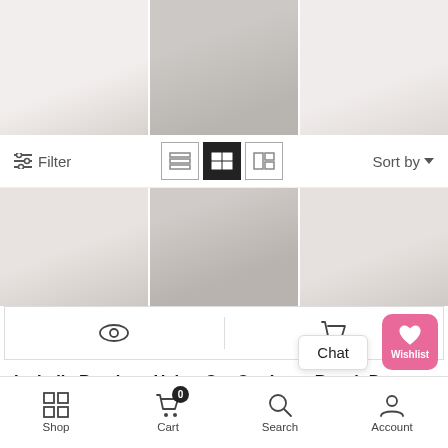[Figure (photo): Top portion of a product listing page showing a clothing item photo split across panels]
[Figure (screenshot): Toolbar with Filter button, view mode icons (list, grid, half), and Sort by dropdown]
[Figure (photo): Middle portion of product image panels showing clothing item]
[Figure (screenshot): Quick action buttons: eye/preview icon and cart icon]
Isabelle Bandeau Halter Cut Out Long Beach Dress With Slit In Champagne Beige
RM189.00
[Figure (screenshot): Bottom navigation bar with Shop, Cart (0), Search, Account icons and Chat bubble and Wishlist FAB]